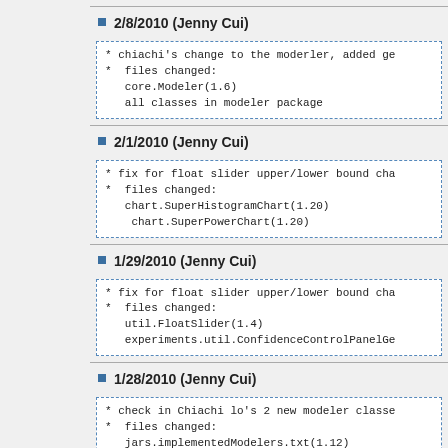2/8/2010 (Jenny Cui)
* chiachi's change to the moderler, added ge
*  files changed:
   core.Modeler(1.6)
   all classes in modeler package
2/1/2010 (Jenny Cui)
* fix for float slider upper/lower bound cha
*  files changed:
   chart.SuperHistogramChart(1.20)
    chart.SuperPowerChart(1.20)
1/29/2010 (Jenny Cui)
* fix for float slider upper/lower bound cha
*  files changed:
   util.FloatSlider(1.4)
   experiments.util.ConfidenceControlPanelGe
1/28/2010 (Jenny Cui)
* check in Chiachi lo's 2 new modeler classe
*  files changed:
   jars.implementedModelers.txt(1.12)
   distributions.ParetoDistribution(1.8)
   distributions.RayleighDistribution(1.7)